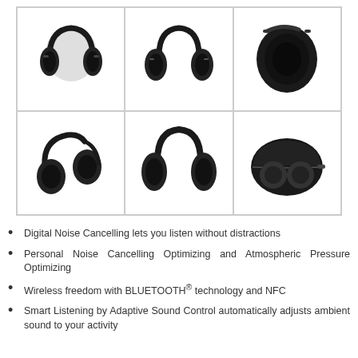[Figure (photo): Six product photos of Sony noise-cancelling headphones in black, arranged in a 2-row, 3-column grid. Top row shows: side profile view, front view, and ear cup close-up. Bottom row shows: folded view from side, front view without headband emphasis, and headphones in carrying case.]
Digital Noise Cancelling lets you listen without distractions
Personal Noise Cancelling Optimizing and Atmospheric Pressure Optimizing
Wireless freedom with BLUETOOTH® technology and NFC
Smart Listening by Adaptive Sound Control automatically adjusts ambient sound to your activity